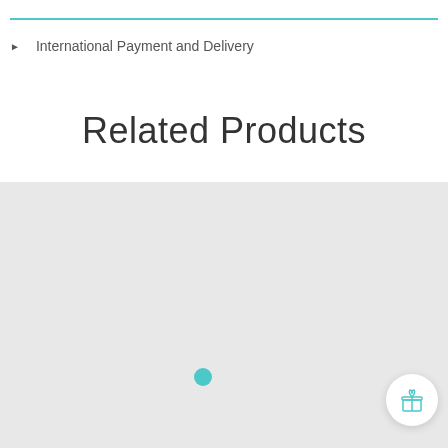International Payment and Delivery
Related Products
[Figure (screenshot): Light gray placeholder area for related products with a teal circular dot indicator in the lower center and a white circular gift icon button in the lower right corner.]